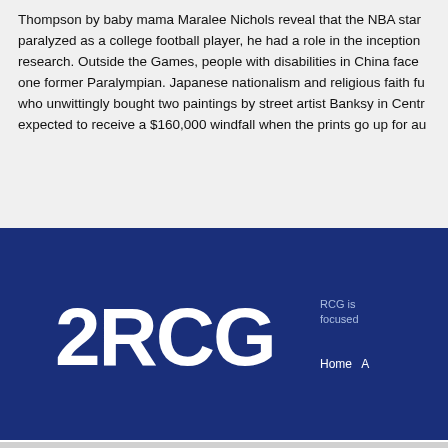Thompson by baby mama Maralee Nichols reveal that the NBA star paralyzed as a college football player, he had a role in the inception research. Outside the Games, people with disabilities in China face one former Paralympian. Japanese nationalism and religious faith fu who unwittingly bought two paintings by street artist Banksy in Centr expected to receive a $160,000 windfall when the prints go up for au
[Figure (logo): 2RCG logo in white on dark blue background, with navigation links 'Home' and partial text 'RCG is focused']